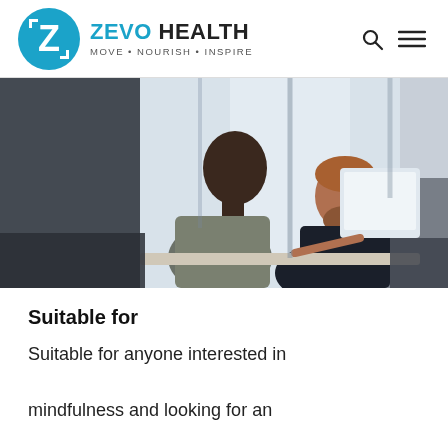ZEVO HEALTH — MOVE · NOURISH · INSPIRE
[Figure (photo): Two men in an office setting, one standing leaning over a desk and one seated, both smiling and looking at a computer screen. Collaborative workplace scene with large windows in the background.]
Suitable for
Suitable for anyone interested in mindfulness and looking for an introduction to it and how to use it...